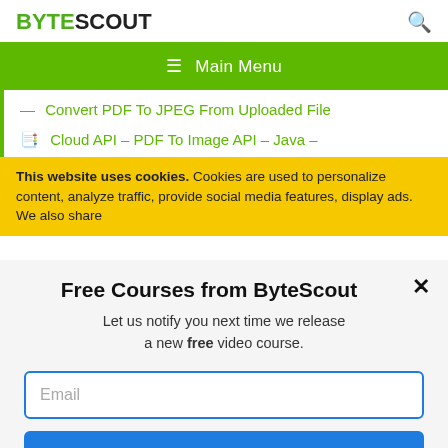BYTESCOUT
≡ Main Menu
— Convert PDF To JPEG From Uploaded File
📋 Cloud API – PDF To Image API – Java –
This website uses cookies. Cookies are used to personalize content, analyze traffic, provide social media features, display ads. We also share
Free Courses from ByteScout
Let us notify you next time we release a new free video course.
Email
SUBSCRIBE